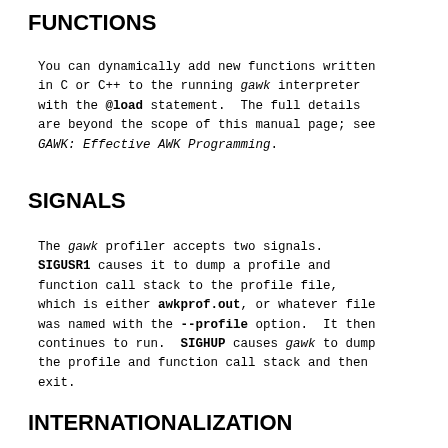FUNCTIONS
You can dynamically add new functions written in C or C++ to the running gawk interpreter with the @load statement. The full details are beyond the scope of this manual page; see GAWK: Effective AWK Programming.
SIGNALS
The gawk profiler accepts two signals. SIGUSR1 causes it to dump a profile and function call stack to the profile file, which is either awkprof.out, or whatever file was named with the --profile option. It then continues to run. SIGHUP causes gawk to dump the profile and function call stack and then exit.
INTERNATIONALIZATION